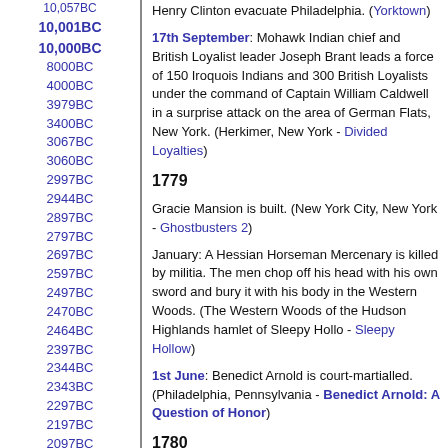10,057BC
10,001BC
10,000BC
8000BC
4000BC
3979BC
3400BC
3067BC
3060BC
2997BC
2944BC
2897BC
2797BC
2697BC
2597BC
2497BC
2470BC
2464BC
2397BC
2344BC
2343BC
2297BC
2197BC
2097BC
2000BC
1997BC
1991BC
1981BC
1916BC
1906BC
1905BC
1897BC
1892BC
Henry Clinton evacuate Philadelphia. (Yorktown)
17th September: Mohawk Indian chief and British Loyalist leader Joseph Brant leads a force of 150 Iroquois Indians and 300 British Loyalists under the command of Captain William Caldwell in a surprise attack on the area of German Flats, New York. (Herkimer, New York - Divided Loyalties)
1779
Gracie Mansion is built. (New York City, New York - Ghostbusters 2)
January: A Hessian Horseman Mercenary is killed by militia. The men chop off his head with his own sword and bury it with his body in the Western Woods. (The Western Woods of the Hudson Highlands hamlet of Sleepy Hollo - Sleepy Hollow)
1st June: Benedict Arnold is court-martialled. (Philadelphia, Pennsylvania - Benedict Arnold: A Question of Honor)
1780
Lestat becomes a vampire. (Interview with the Vampire: The Vampire Chronicles)
29th September: British spy John Andr (Benedict Arnold: A Question of Honor)